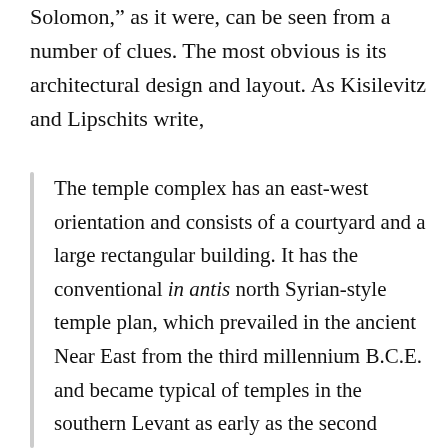Solomon," as it were, can be seen from a number of clues. The most obvious is its architectural design and layout. As Kisilevitz and Lipschits write,
The temple complex has an east-west orientation and consists of a courtyard and a large rectangular building. It has the conventional in antis north Syrian-style temple plan, which prevailed in the ancient Near East from the third millennium B.C.E. and became typical of temples in the southern Levant as early as the second millennium B.C.E.—including the Late Bronze Age temples at Hazor (Areas A and H), the temples at 'Ain Dara and Tell Ta'yinat in Syria, and also Solomon's